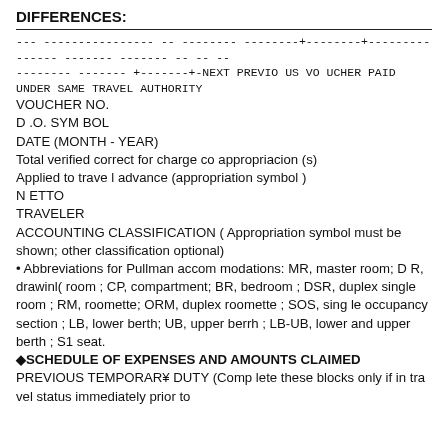DIFFERENCES:
--- ---------------- -- -------- --------+--------+--------------- ------- ------- -- -- --
-------- ------- +-------+-NEXT PREVIO US VO UCHER PAID UNDER SAME TRAVEL AUTHORITY
VOUCHER NO.
D .O. SYM BOL
DATE (MONTH - YEAR)
Total verified correct for charge co appropriacion (s)
Applied to trave l advance (appropriation symbol )
N ETTO
TRAVELER
ACCOUNTING CLASSIFICATION ( Appropriation symbol must be shown; other classification optional)
• Abbreviations for Pullman accom modations: MR, master room; D R, drawinl( room ; CP, compartment; BR, bedroom ; DSR, duplex single room ; RM, roomette; ORM, duplex roomette ; SOS, sing le occupancy section ; LB, lower berth; UB, upper berrh ; LB-UB, lower and upper berth ; S1 seat.
◆SCHEDULE OF EXPENSES AND AMOUNTS CLAIMED
PREVIOUS TEMPORAR¥ DUTY (Comp lete these blocks only if in tra vel status immediately prior to